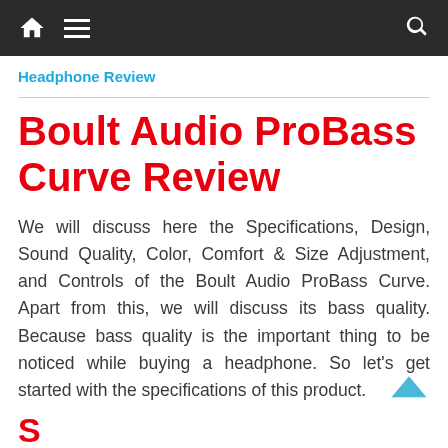🏠 ☰ 🔍
Headphone Review
Boult Audio ProBass Curve Review
We will discuss here the Specifications, Design, Sound Quality, Color, Comfort & Size Adjustment, and Controls of the Boult Audio ProBass Curve. Apart from this, we will discuss its bass quality. Because bass quality is the important thing to be noticed while buying a headphone. So let's get started with the specifications of this product.
S...